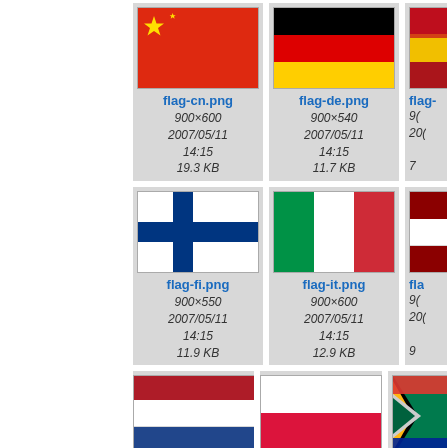[Figure (screenshot): File browser grid of flag image thumbnails. Row 1: flag-cn.png (900x600, 2007/05/11 14:15, 19.3 KB), flag-de.png (900x540, 2007/05/11 14:15, 11.7 KB), partial third card. Row 2: flag-fi.png (900x550, 2007/05/11 14:15, 11.9 KB), flag-it.png (900x600, 2007/05/11 14:15, 12.9 KB), partial third card. Row 3: partial thumbnails for Netherlands, Poland, and South Africa flags.]